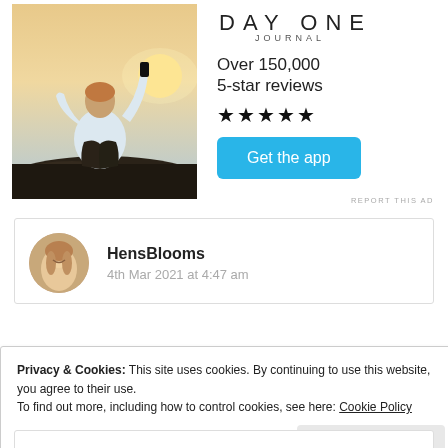[Figure (photo): Person sitting on rocks with back to camera, holding phone, looking at sunset sky]
[Figure (logo): Day One Journal logo — DAY ONE in spaced caps, JOURNAL below]
Over 150,000
5-star reviews
★★★★★
Get the app
REPORT THIS AD
HensBlooms
4th Mar 2021 at 4:47 am
Privacy & Cookies: This site uses cookies. By continuing to use this website, you agree to their use.
To find out more, including how to control cookies, see here: Cookie Policy
Close and accept